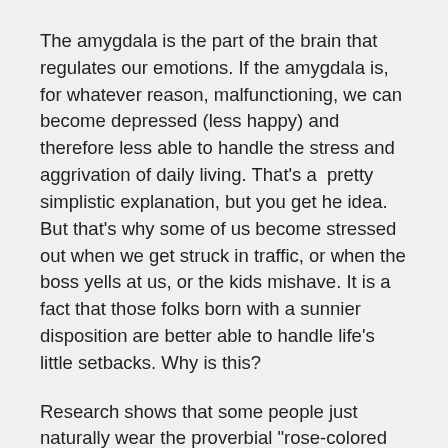The amygdala is the part of the brain that regulates our emotions. If the amygdala is, for whatever reason, malfunctioning, we can become depressed (less happy) and therefore less able to handle the stress and aggrivation of daily living. That's a  pretty simplistic explanation, but you get he idea. But that's why some of us become stressed out when we get struck in traffic, or when the boss yells at us, or the kids mishave. It is a fact that those folks born with a sunnier disposition are better able to handle life's little setbacks. Why is this?
Research shows that some people just naturally wear the proverbial "rose-colored glasses" that allow them to focus on the positive instead of the negative. Another reason could be that, for some of us, it's just easier to to savor the good things in life which, in turns, lifts our moods while still allowing us to see the bad. It seems that humans have a negativity bias, a tendency to focus on threats, but science has proven that it's possible for us to become more positive for this b...